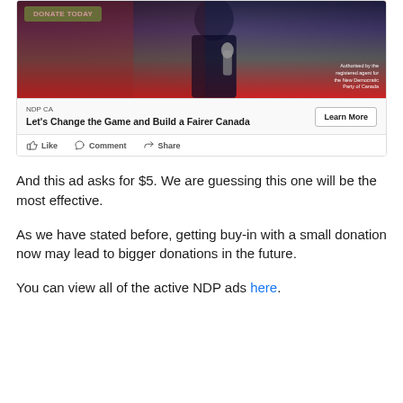[Figure (screenshot): Facebook ad card for NDP CA showing a man in a dark suit holding a microphone, with a red background and 'Authorised by the registered agent for the New Democratic Party of Canada' text. Includes 'Let's Change the Game and Build a Fairer Canada' headline and 'Learn More' button. Social action buttons: Like, Comment, Share.]
And this ad asks for $5. We are guessing this one will be the most effective.
As we have stated before, getting buy-in with a small donation now may lead to bigger donations in the future.
You can view all of the active NDP ads here.